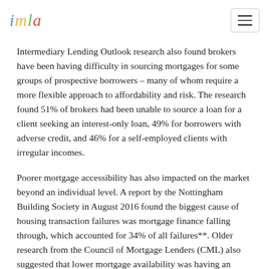imla
Intermediary Lending Outlook research also found brokers have been having difficulty in sourcing mortgages for some groups of prospective borrowers – many of whom require a more flexible approach to affordability and risk. The research found 51% of brokers had been unable to source a loan for a client seeking an interest-only loan, 49% for borrowers with adverse credit, and 46% for a self-employed clients with irregular incomes.
Poorer mortgage accessibility has also impacted on the market beyond an individual level. A report by the Nottingham Building Society in August 2016 found the biggest cause of housing transaction failures was mortgage finance falling through, which accounted for 34% of all failures**. Older research from the Council of Mortgage Lenders (CML) also suggested that lower mortgage availability was having an impact on